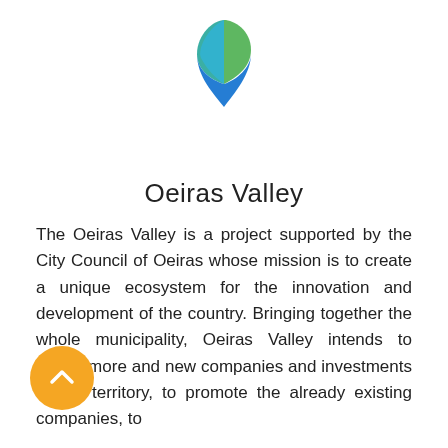[Figure (logo): Oeiras Valley logo — a teardrop/map-pin shape made of overlapping blue, teal, and green leaf-like forms]
Oeiras Valley
The Oeiras Valley is a project supported by the City Council of Oeiras whose mission is to create a unique ecosystem for the innovation and development of the country. Bringing together the whole municipality, Oeiras Valley intends to attract more and new companies and investments to the territory, to promote the already existing companies, to